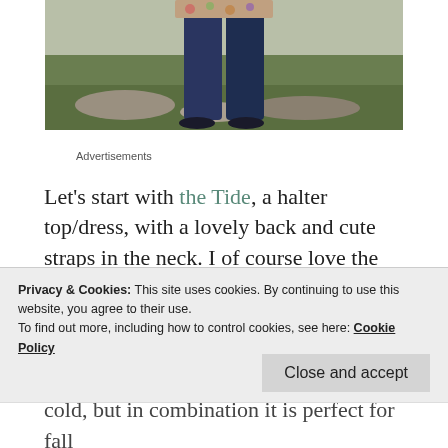[Figure (photo): Lower half of a person wearing a floral top and dark navy jeans, standing outdoors on rocky ground with green grass/foliage in the background.]
Advertisements
Let’s start with the Tide, a halter top/dress, with a lovely back and cute straps in the neck. I of course love the colour block detail on the back sides, great for using those beautiful scraps. I
Privacy & Cookies: This site uses cookies. By continuing to use this website, you agree to their use.
To find out more, including how to control cookies, see here: Cookie Policy
Close and accept
cold, but in combination it is perfect for fall